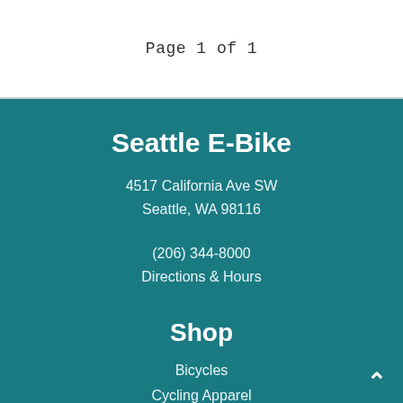Page 1 of 1
Seattle E-Bike
4517 California Ave SW
Seattle, WA 98116
(206) 344-8000
Directions & Hours
Shop
Bicycles
Cycling Apparel